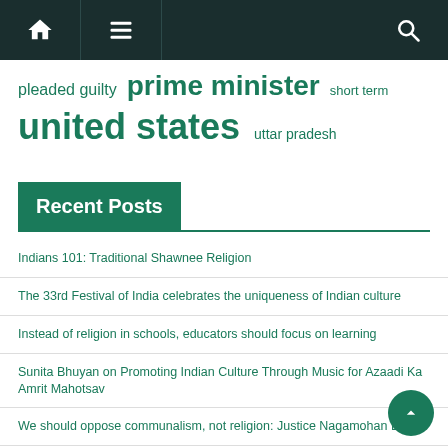Navigation bar with home, menu, and search icons
pleaded guilty  prime minister  short term  united states  uttar pradesh
Recent Posts
Indians 101: Traditional Shawnee Religion
The 33rd Festival of India celebrates the uniqueness of Indian culture
Instead of religion in schools, educators should focus on learning
Sunita Bhuyan on Promoting Indian Culture Through Music for Azaadi Ka Amrit Mahotsav
We should oppose communalism, not religion: Justice Nagamohan Das